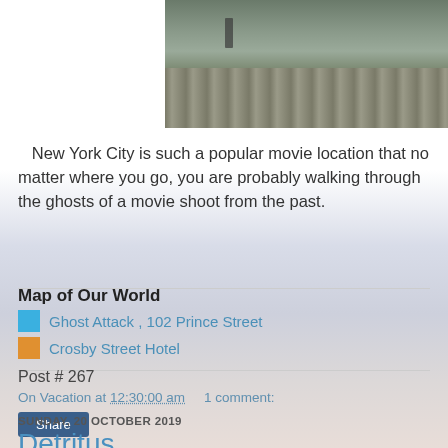[Figure (photo): Partial photo of a cobblestone street or plaza in New York City, showing pavement and a bicycle in the background.]
New York City is such a popular movie location that no matter where you go, you are probably walking through the ghosts of a movie shoot from the past.
Map of Our World
Ghost Attack , 102 Prince Street
Crosby Street Hotel
Post # 267
On Vacation at 12:30:00 am    1 comment:
Share
SUNDAY, 20 OCTOBER 2019
Detritus